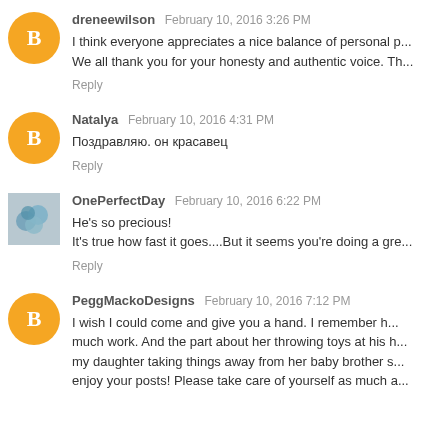dreneewilson  February 10, 2016 3:26 PM
I think everyone appreciates a nice balance of personal p... We all thank you for your honesty and authentic voice. Th...
Reply
Natalya  February 10, 2016 4:31 PM
Поздравляю. он красавец
Reply
OnePerfectDay  February 10, 2016 6:22 PM
He's so precious!
It's true how fast it goes....But it seems you're doing a gre...
Reply
PeggMackoDesigns  February 10, 2016 7:12 PM
I wish I could come and give you a hand. I remember h... much work. And the part about her throwing toys at his h... my daughter taking things away from her baby brother s... enjoy your posts! Please take care of yourself as much a...